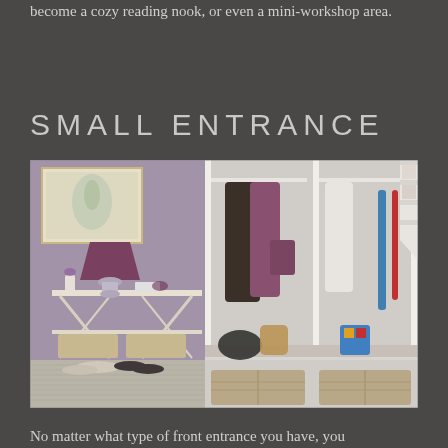become a cozy reading nook, or even a mini-workshop area.
SMALL ENTRANCE
[Figure (photo): A small entrance hallway showing a purple-walled room with a console table, purple lamp, storage baskets underneath, and a built-in coat storage unit with hooks, hanging coats, bags, umbrellas and wicker storage baskets below. Shoes are visible on the floor.]
No matter what type of front entrance you have, you